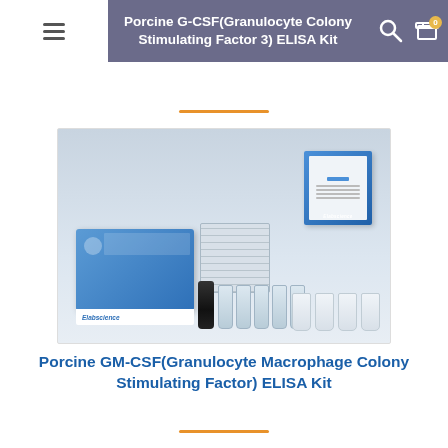Porcine G-CSF(Granulocyte Colony Stimulating Factor 3) ELISA Kit
[Figure (photo): Elabscience ELISA kit product photo showing a complete kit with blue box, microplate, user manual booklet, reagent bottles, and vials on a light grey background]
Porcine GM-CSF(Granulocyte Macrophage Colony Stimulating Factor) ELISA Kit